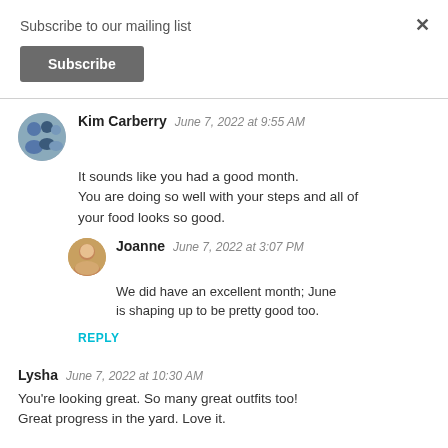Subscribe to our mailing list
Subscribe
×
Kim Carberry  June 7, 2022 at 9:55 AM
It sounds like you had a good month. You are doing so well with your steps and all of your food looks so good.
Joanne  June 7, 2022 at 3:07 PM
We did have an excellent month; June is shaping up to be pretty good too.
REPLY
Lysha  June 7, 2022 at 10:30 AM
You're looking great. So many great outfits too! Great progress in the yard. Love it.